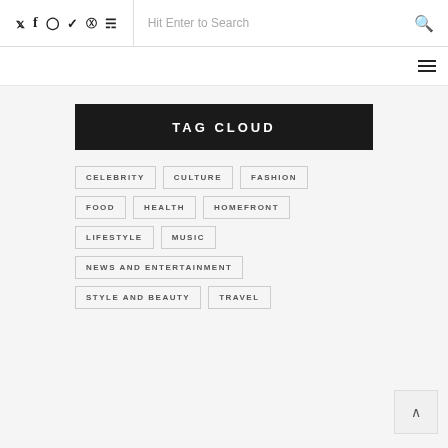Social icons: Twitter, Facebook, Instagram, Vimeo, Pinterest, RSS | Search: Hit Enter to Search
Hamburger menu icon
TAG CLOUD
CELEBRITY
CULTURE
FASHION
FOOD
HEALTH
HOMEFRONT
LIFESTYLE
MUSIC
NEWS AND ENTERTAINMENT
STYLE AND BEAUTY
TRAVEL